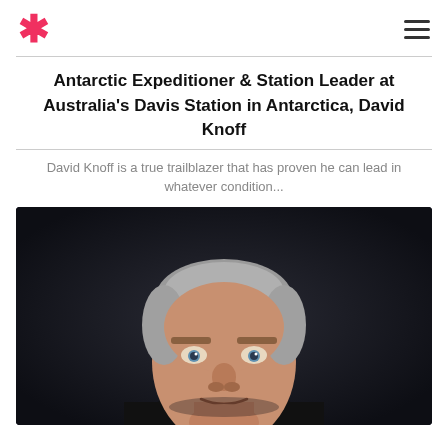* (logo) and hamburger menu icon
Antarctic Expeditioner & Station Leader at Australia's Davis Station in Antarctica, David Knoff
David Knoff is a true trailblazer that has proven he can lead in whatever condition...
[Figure (photo): Professional headshot of David Knoff, a middle-aged man with short grey hair, wearing a black top, against a dark background, with his chin resting on his hand]